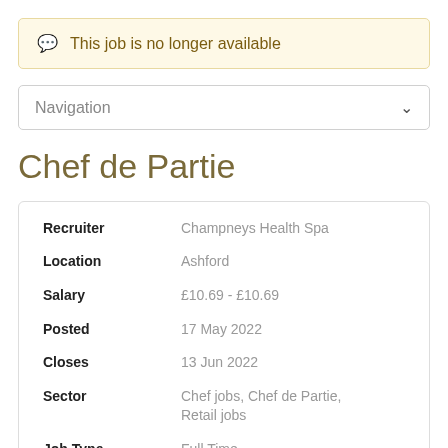This job is no longer available
Navigation
Chef de Partie
| Field | Value |
| --- | --- |
| Recruiter | Champneys Health Spa |
| Location | Ashford |
| Salary | £10.69 - £10.69 |
| Posted | 17 May 2022 |
| Closes | 13 Jun 2022 |
| Sector | Chef jobs, Chef de Partie, Retail jobs |
| Job Type | Full Time |